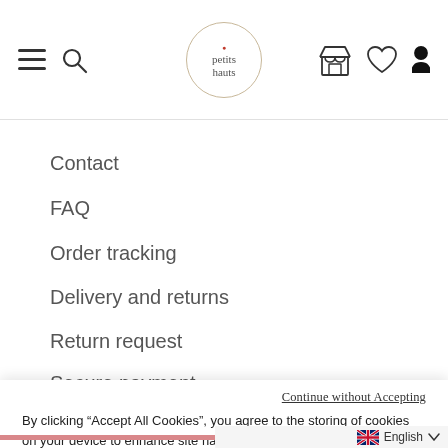[Figure (screenshot): Website header navigation bar with hamburger menu icon, search icon, Petits Hauts logo in a circle, shop icon, heart icon, and user icon]
Contact
FAQ
Order tracking
Delivery and returns
Return request
Secure payment
Continue without Accepting
By clicking “Accept All Cookies”, you agree to the storing of cookies on your device to enhance site navigation, analyze site usage, and assist in our marketing efforts.
Cookies Settings
Accept All Cookies
English